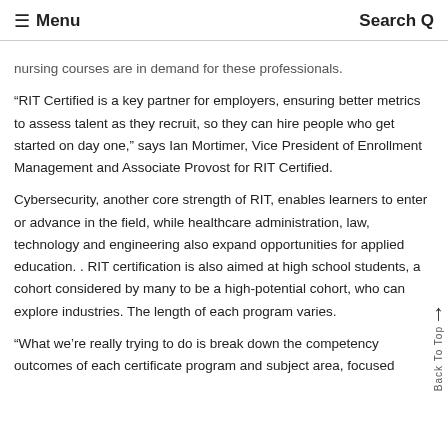≡ Menu   Search Q
nursing courses are in demand for these professionals.
“RIT Certified is a key partner for employers, ensuring better metrics to assess talent as they recruit, so they can hire people who get started on day one,” says Ian Mortimer, Vice President of Enrollment Management and Associate Provost for RIT Certified.
Cybersecurity, another core strength of RIT, enables learners to enter or advance in the field, while healthcare administration, law, technology and engineering also expand opportunities for applied education. . RIT certification is also aimed at high school students, a cohort considered by many to be a high-potential cohort, who can explore industries. The length of each program varies.
“What we’re really trying to do is break down the competency outcomes of each certificate program and subject area, focused